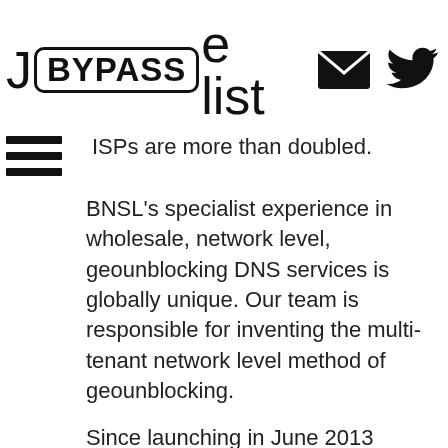J[BYPASS]e list [email icon] [twitter icon]
ISPs are more than doubled.
BNSL's specialist experience in wholesale, network level, geounblocking DNS services is globally unique. Our team is responsible for inventing the multi-tenant network level method of geounblocking.
Since launching in June 2013 BNSL has maintained 99.99% uptime and currently